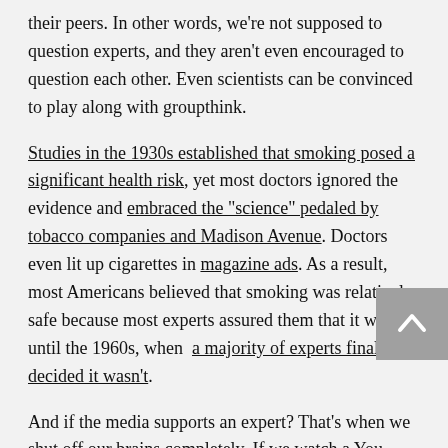their peers. In other words, we're not supposed to question experts, and they aren't even encouraged to question each other. Even scientists can be convinced to play along with groupthink.
Studies in the 1930s established that smoking posed a significant health risk, yet most doctors ignored the evidence and embraced the "science" pedaled by tobacco companies and Madison Avenue. Doctors even lit up cigarettes in magazine ads. As a result, most Americans believed that smoking was relatively safe because most experts assured them that it was—until the 1960s, when a majority of experts finally decided it wasn't.
And if the media supports an expert? That's when we shut off our brains completely. If we watch a You Tube video of a frumpy